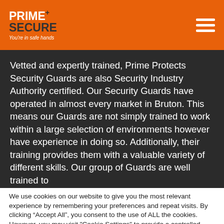Prime Secure — You're in safe hands
Vetted and expertly trained, Prime Protects Security Guards are also Security Industry Authority certified. Our Security Guards have operated in almost every market in Bruton. This means our Guards are not simply trained to work within a large selection of environments however have experience in doing so. Additionally, their training provides them with a valuable variety of different skills. Our group of Guards are well trained to
We use cookies on our website to give you the most relevant experience by remembering your preferences and repeat visits. By clicking "Accept All", you consent to the use of ALL the cookies. However, you may visit "Cookie Settings" to provide a controlled consent.